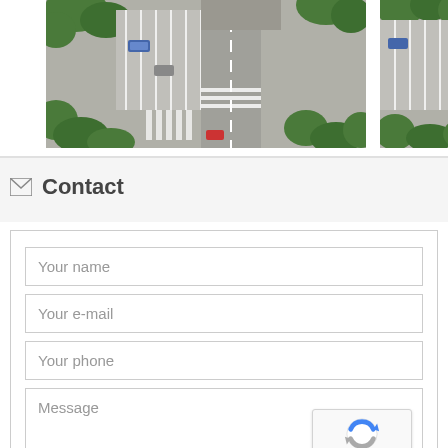[Figure (photo): Aerial view of a car park and road intersection with green trees, viewed from above. Two images side by side, the left one larger, partially cropped on the right side.]
Contact
Your name
Your e-mail
Your phone
Message